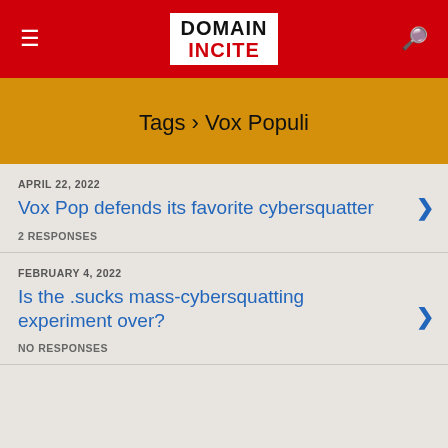Domain Incite
Tags › Vox Populi
APRIL 22, 2022
Vox Pop defends its favorite cybersquatter
2 RESPONSES
FEBRUARY 4, 2022
Is the .sucks mass-cybersquatting experiment over?
NO RESPONSES